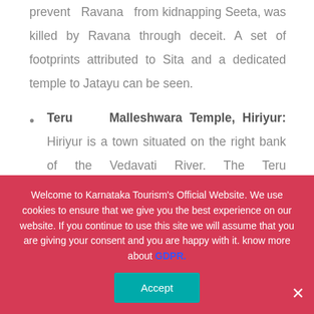prevent Ravana from kidnapping Seeta, was killed by Ravana through deceit. A set of footprints attributed to Sita and a dedicated temple to Jatayu can be seen.
Teru Malleshwara Temple, Hiriyur: Hiriyur is a town situated on the right bank of the Vedavati River. The Teru Malleshwara Temple dedicated to Lord Shiva is a large structure built in the Dravidian style.
Welcome to Karnataka Tourism's Official Website. We use cookies to ensure that we give you the best experience on our website. If you continue to use this site we will assume that you are giving your consent and you are happy with it. know more about GDPR.